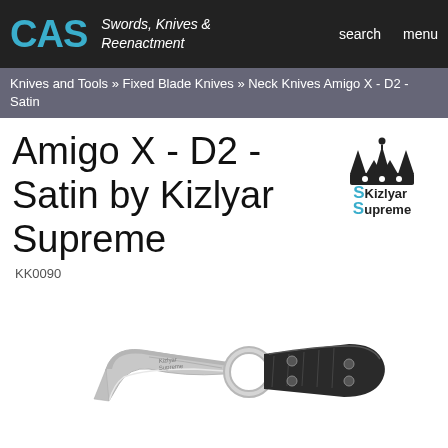CAS  Swords, Knives & Reenactment  search  menu
Knives and Tools » Fixed Blade Knives » Neck Knives Amigo X - D2 - Satin
Amigo X - D2 - Satin by Kizlyar Supreme
KK0090
[Figure (logo): Kizlyar Supreme brand logo with crown icon]
[Figure (photo): Kizlyar Supreme Amigo X D2 Satin neck knife with black G10 handle and satin finished blade with finger ring]